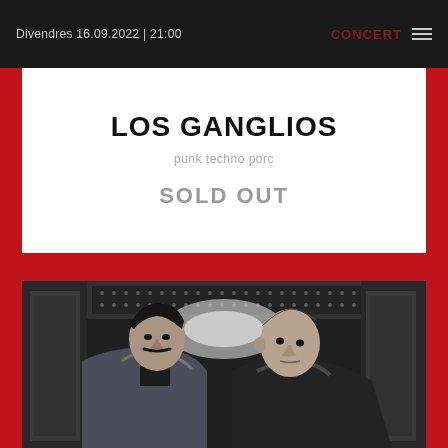Divendres 16.09.2022 | 21:00  CONCERT
LOS GANGLIOS
punk techno porc
SOLD OUT
[Figure (photo): Black and white photo of two men standing in an elevator. The man on the left has dark hair and a mustache, wearing a denim jacket with fleece lining. The man on the right is bald and wearing a dark jacket. The elevator interior shows metallic walls and a perforated ceiling with lights.]